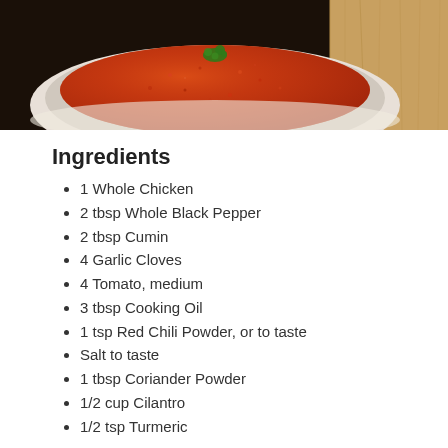[Figure (photo): Bowl of red tomato-based soup or curry garnished with cilantro, photographed from above on a wooden surface]
Ingredients
1 Whole Chicken
2 tbsp Whole Black Pepper
2 tbsp Cumin
4 Garlic Cloves
4 Tomato, medium
3 tbsp Cooking Oil
1 tsp Red Chili Powder, or to taste
Salt to taste
1 tbsp Coriander Powder
1/2 cup Cilantro
1/2 tsp Turmeric
Instructions
1. Skin the whole chicken and cut into...